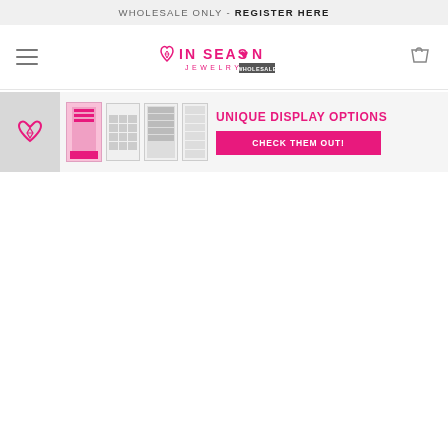WHOLESALE ONLY - REGISTER HERE
[Figure (logo): In Season Jewelry Wholesale logo with pink text and diamond heart icon]
[Figure (infographic): Promotional banner showing unique jewelry display options with thumbnail images of display stands and a pink CTA button reading CHECK THEM OUT!]